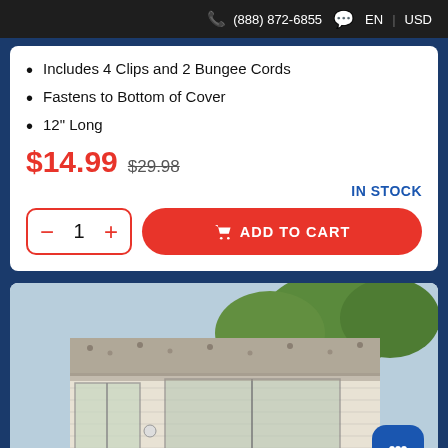(888) 872-6855   EN | USD
Includes 4 Clips and 2 Bungee Cords
Fastens to Bottom of Cover
12" Long
$14.99  $29.98
IN STOCK
1  ADD TO CART
[Figure (photo): Exterior photo of a house with white siding, sliding glass doors, a stone/gravel roof overhang, and trees in the background. A hot tub with a tan cover is visible in the lower foreground.]